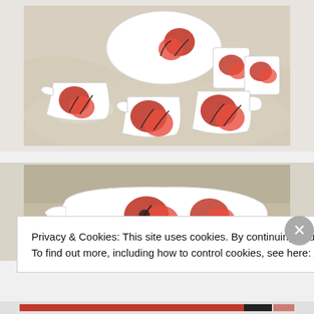[Figure (photo): White ceramic tea set with red poppy flower design, including a plate/dish, a large creamer/jug, two smaller creamers/jugs, and three mugs, arranged on a marble-like surface.]
[Figure (photo): Close-up of white ceramic pouring dish with red poppy flower design, partially shown.]
Privacy & Cookies: This site uses cookies. By continuing to use this website, you agree to their use.
To find out more, including how to control cookies, see here: Cookie Policy
Close and accept